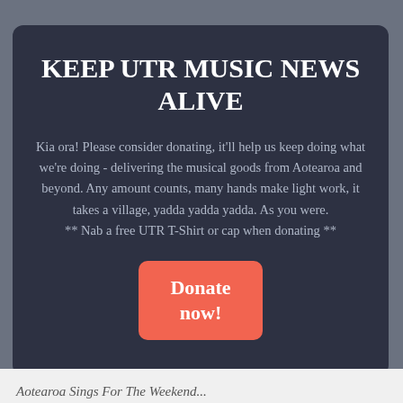KEEP UTR MUSIC NEWS ALIVE
Kia ora! Please consider donating, it'll help us keep doing what we're doing - delivering the musical goods from Aotearoa and beyond. Any amount counts, many hands make light work, it takes a village, yadda yadda yadda. As you were.
** Nab a free UTR T-Shirt or cap when donating **
[Figure (other): Large coral/red rounded button with white bold text reading 'Donate now!']
Aotearoa Sings For The Weekend...